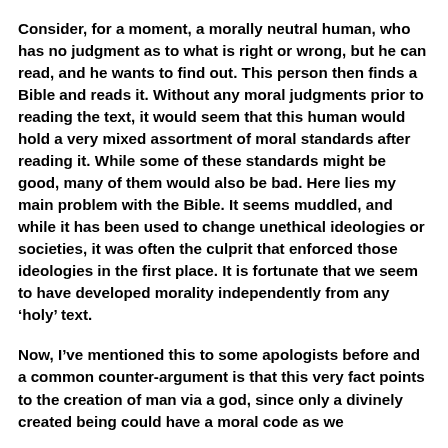Consider, for a moment, a morally neutral human, who has no judgment as to what is right or wrong, but he can read, and he wants to find out. This person then finds a Bible and reads it. Without any moral judgments prior to reading the text, it would seem that this human would hold a very mixed assortment of moral standards after reading it. While some of these standards might be good, many of them would also be bad. Here lies my main problem with the Bible. It seems muddled, and while it has been used to change unethical ideologies or societies, it was often the culprit that enforced those ideologies in the first place. It is fortunate that we seem to have developed morality independently from any ‘holy’ text.
Now, I’ve mentioned this to some apologists before and a common counter-argument is that this very fact points to the creation of man via a god, since only a divinely created being could have a moral code as we